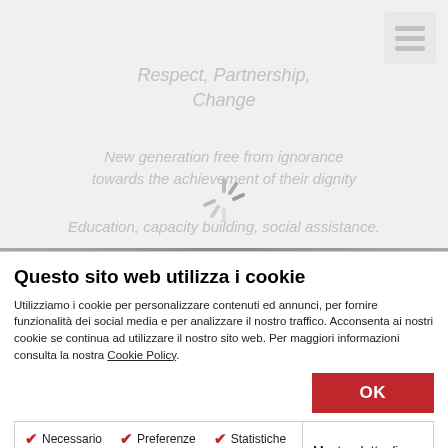[Figure (screenshot): Faded website background showing text: 'Respect, Partnership, Change', 'New generation free from ignorance towards the achievement of their dignity', 'Education, capacity building, social assistance.' with a loading spinner and menu icon in top right.]
Questo sito web utilizza i cookie
Utilizziamo i cookie per personalizzare contenuti ed annunci, per fornire funzionalità dei social media e per analizzare il nostro traffico. Acconsenta ai nostri cookie se continua ad utilizzare il nostro sito web. Per maggiori informazioni consulta la nostra Cookie Policy.
OK
✔ Necessario  ✔ Preferenze  ✔ Statistiche  Mostra dettagli
☐ Marketing